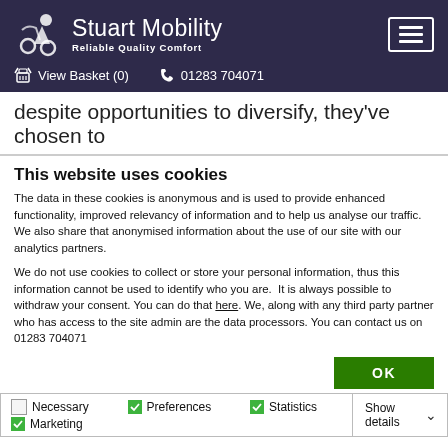Stuart Mobility — Reliable Quality Comfort | View Basket (0) | 01283 704071
despite opportunities to diversify, they've chosen to
This website uses cookies
The data in these cookies is anonymous and is used to provide enhanced functionality, improved relevancy of information and to help us analyse our traffic.  We also share that anonymised information about the use of our site with our analytics partners.
We do not use cookies to collect or store your personal information, thus this information cannot be used to identify who you are.  It is always possible to withdraw your consent. You can do that here. We, along with any third party partner who has access to the site admin are the data processors. You can contact us on 01283 704071
OK
Necessary  Preferences  Statistics  Marketing  Show details